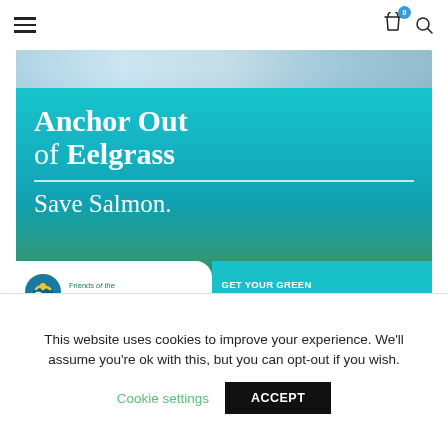[Figure (screenshot): Website navigation bar with hamburger menu on left, shopping cart with badge showing 0 and search icon on right]
[Figure (photo): Partial underwater/water surface photograph cropped at top]
[Figure (infographic): Teal/green advertisement banner reading 'Anchor Out of Eelgrass — Save Salmon.' with Friends of the San Juans logo and 'GET YOUR GREEN BOATING BROCHURE' call to action]
This website uses cookies to improve your experience. We'll assume you're ok with this, but you can opt-out if you wish.
Cookie settings
ACCEPT